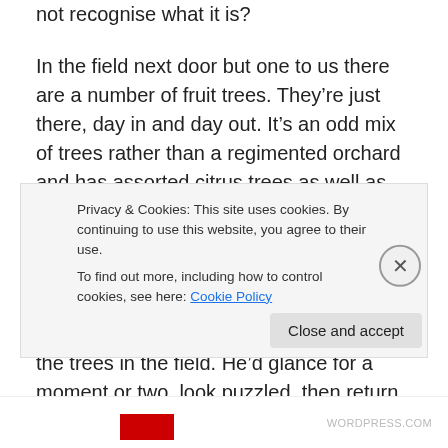not recognise what it is?
In the field next door but one to us there are a number of fruit trees.  They’re just there, day in and day out.  It’s an odd mix of trees rather than a regimented orchard and has assorted citrus trees as well as pomegranates and figs as well as one or two others.
Recently we were standing in the lane talking to a neighbour.  As we chatted away Ian kept looking over her shoulder at the trees in the field.  He’d glance for a moment or two, look puzzled, then return to the
Privacy & Cookies: This site uses cookies. By continuing to use this website, you agree to their use.
To find out more, including how to control cookies, see here: Cookie Policy
Close and accept